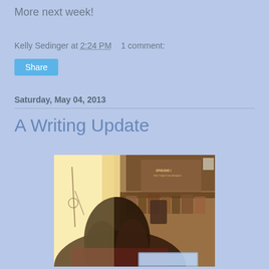More next week!
Kelly Sedinger at 2:24 PM   1 comment:
Share
Saturday, May 04, 2013
A Writing Update
[Figure (photo): Person with long hair sitting at a desk with a laptop, viewed from behind, with bookshelves and Star Wars Episode I poster/merchandise in the background, warm sunlit atmosphere]